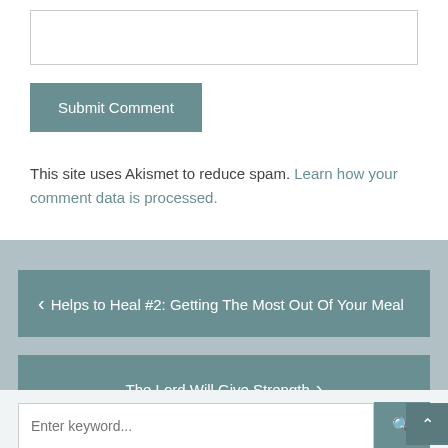This site uses Akismet to reduce spam. Learn how your comment data is processed.
< Helps to Heal #2: Getting The Most Out Of Your Meal
The Lord Will Give Strength >
Enter keyword...